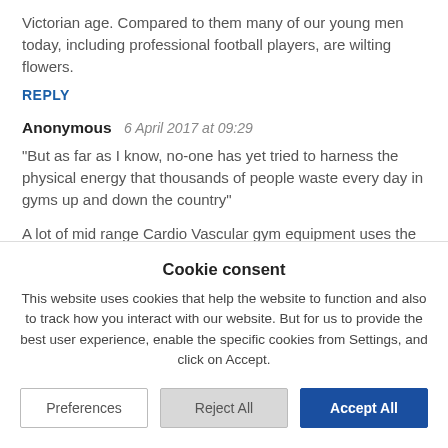Victorian age. Compared to them many of our young men today, including professional football players, are wilting flowers.
REPLY
Anonymous  6 April 2017 at 09:29
"But as far as I know, no-one has yet tried to harness the physical energy that thousands of people waste every day in gyms up and down the country"

A lot of mid range Cardio Vascular gym equipment uses the kinetic energy to power
Cookie consent
This website uses cookies that help the website to function and also to track how you interact with our website. But for us to provide the best user experience, enable the specific cookies from Settings, and click on Accept.
Preferences
Reject All
Accept All